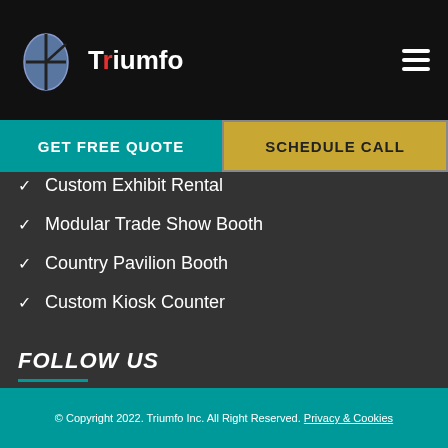Triumfo
Custom Exhibit Rental
Modular Trade Show Booth
Country Pavilion Booth
Custom Kiosk Counter
FOLLOW US
[Figure (infographic): Row of 6 social media icons: Facebook, LinkedIn, Pinterest, Twitter, Instagram, YouTube]
© Copyright 2022. Triumfo Inc. All Right Reserved. Privacy & Cookies